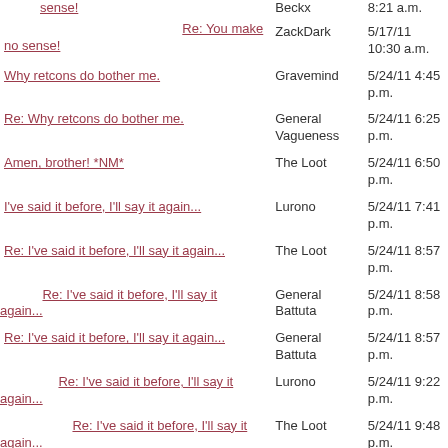| Topic | Author | Date |
| --- | --- | --- |
| Re: You make no sense! | ZackDark | 5/17/11 10:30 a.m. |
| Why retcons do bother me. | Gravemind | 5/24/11 4:45 p.m. |
| Re: Why retcons do bother me. | General Vagueness | 5/24/11 6:25 p.m. |
| Amen, brother! *NM* | The Loot | 5/24/11 6:50 p.m. |
| I've said it before, I'll say it again... | Lurono | 5/24/11 7:41 p.m. |
| Re: I've said it before, I'll say it again... | The Loot | 5/24/11 8:57 p.m. |
| Re: I've said it before, I'll say it again... | General Battuta | 5/24/11 8:58 p.m. |
| Re: I've said it before, I'll say it again... | General Battuta | 5/24/11 8:57 p.m. |
| Re: I've said it before, I'll say it again... | Lurono | 5/24/11 9:22 p.m. |
| Re: I've said it before, I'll say it again... | The Loot | 5/24/11 9:48 p.m. |
| Re: Why retcons do bother me. | Narcogen | 5/25/11 8:01 a.m. |
| Re: Why retcons do bother me. | Stephen L. (SoundEffect) | 5/25/11 8:30 a.m. |